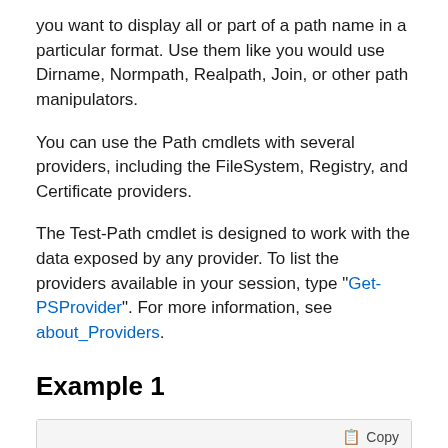you want to display all or part of a path name in a particular format. Use them like you would use Dirname, Normpath, Realpath, Join, or other path manipulators.
You can use the Path cmdlets with several providers, including the FileSystem, Registry, and Certificate providers.
The Test-Path cmdlet is designed to work with the data exposed by any provider. To list the providers available in your session, type "Get-PSProvider". For more information, see about_Providers.
Example 1
C:\PS>test-path -path "C:\Documents and Settings